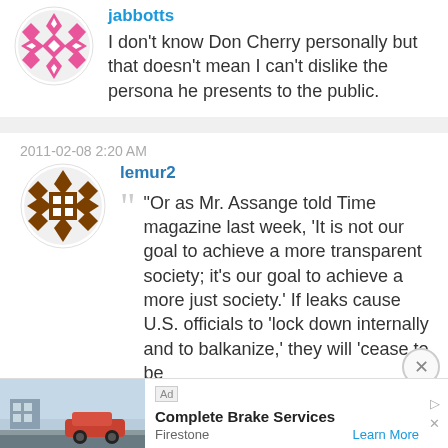[Figure (illustration): Pink geometric avatar icon for user jabbotts]
jabbotts
I don't know Don Cherry personally but that doesn't mean I can't dislike the persona he presents to the public.
2011-02-08 2:20 AM
[Figure (illustration): Brown geometric avatar icon for user lemur2]
lemur2
“Or as Mr. Assange told Time magazine last week, ‘It is not our goal to achieve a more transparent society; it’s our goal to achieve a more just society.’ If leaks cause U.S. officials to ‘lock down internally and to balkanize,’ they will ‘cease to be
[Figure (illustration): Ad banner: Complete Brake Services by Firestone with Learn More link]